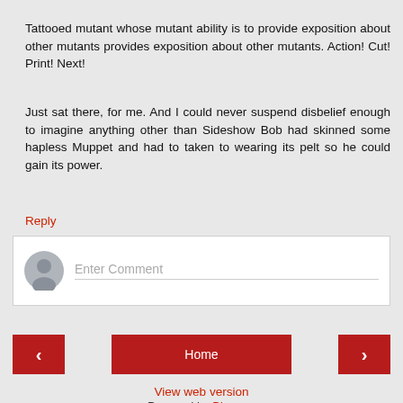Tattooed mutant whose mutant ability is to provide exposition about other mutants provides exposition about other mutants. Action! Cut! Print! Next!
Just sat there, for me. And I could never suspend disbelief enough to imagine anything other than Sideshow Bob had skinned some hapless Muppet and had to taken to wearing its pelt so he could gain its power.
Reply
Enter Comment
Home
View web version
Powered by Blogger.